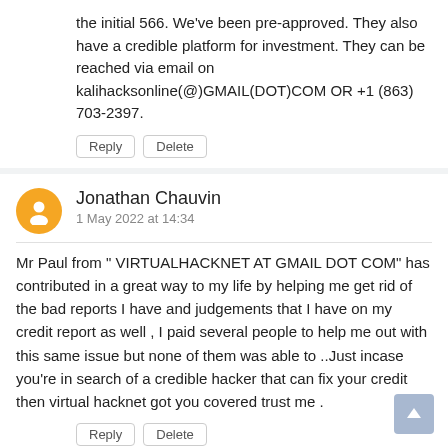the initial 566. We've been pre-approved. They also have a credible platform for investment. They can be reached via email on kalihacksonline(@)GMAIL(DOT)COM OR +1 (863) 703-2397.
Reply  Delete
Jonathan Chauvin
1 May 2022 at 14:34
Mr Paul from " VIRTUALHACKNET AT GMAIL DOT COM" has contributed in a great way to my life by helping me get rid of the bad reports I have and judgements that I have on my credit report as well , I paid several people to help me out with this same issue but none of them was able to ..Just incase you're in search of a credible hacker that can fix your credit then virtual hacknet got you covered trust me .
Reply  Delete
Flora Declan
2 May 2022 at 22:41